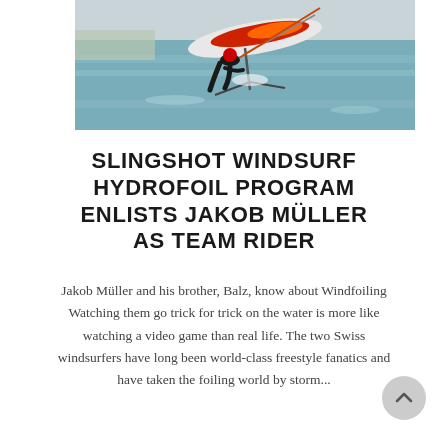[Figure (photo): A windsurfer with a hydrofoil board on the water, the board lifted out of the water on foils, with a red and orange sail visible above. The rider is in a wetsuit in shallow blue water.]
SLINGSHOT WINDSURF HYDROFOIL PROGRAM ENLISTS JAKOB MÜLLER AS TEAM RIDER
Jakob Müller and his brother, Balz, know about Windfoiling Watching them go trick for trick on the water is more like watching a video game than real life. The two Swiss windsurfers have long been world-class freestyle fanatics and have taken the foiling world by storm...